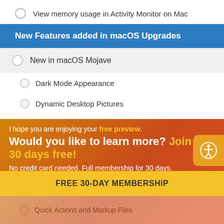View memory usage in Activity Monitor on Mac
New Features added in macOS Upgrades
New in macOS Mojave
Dark Mode Appearance
Dynamic Desktop Pictures
View Recent Apps in the Dock
I hope you are enjoying your free preview. Would you like to learn more? Join for 30 days free! No credit card needed. Full membership for 30 days. Simple as that!
FREE 30-DAY MEMBERSHIP
Quick Actions and Markup Files